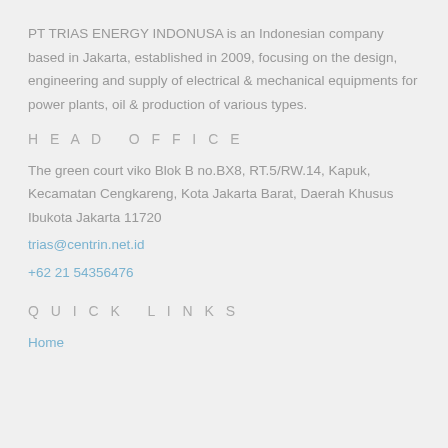PT TRIAS ENERGY INDONUSA is an Indonesian company based in Jakarta, established in 2009, focusing on the design, engineering and supply of electrical & mechanical equipments for power plants, oil & production of various types.
HEAD OFFICE
The green court viko Blok B no.BX8, RT.5/RW.14, Kapuk, Kecamatan Cengkareng, Kota Jakarta Barat, Daerah Khusus Ibukota Jakarta 11720
trias@centrin.net.id
+62 21 54356476
QUICK LINKS
Home